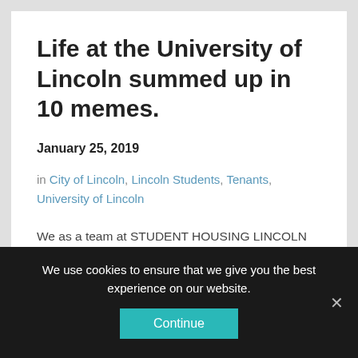Life at the University of Lincoln summed up in 10 memes.
January 25, 2019
in City of Lincoln, Lincoln Students, Tenants, University of Lincoln
We as a team at STUDENT HOUSING LINCOLN give you 10 student memes that perfectly define attending Lincoln Uni. Uni isn't complete without a hand full of memes to get you through…ENJOY!! 1. When your flat mates ask if you wanna grab a meal deal… 2. When your parents constantly
We use cookies to ensure that we give you the best experience on our website.